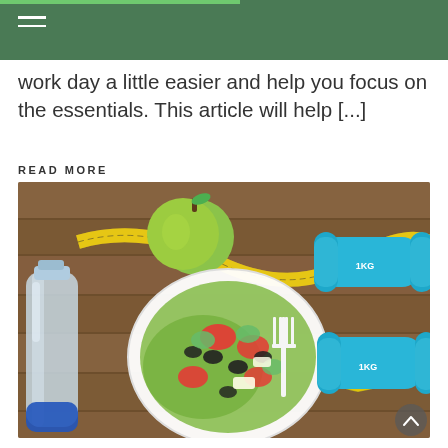work day a little easier and help you focus on the essentials. This article will help [...]
READ MORE
[Figure (photo): Health and fitness flat lay: a plate of salad with a fork, a water bottle, a green apple, a measuring tape, and two blue dumbbells arranged on a rustic wooden surface.]